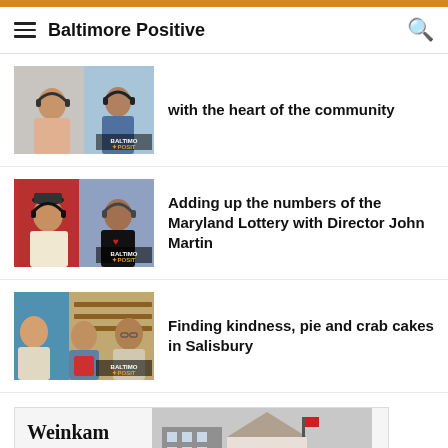Baltimore Positive
with the heart of the community
[Figure (photo): Two people wearing headphones in a podcast studio with Baltimore Positive branding]
Adding up the numbers of the Maryland Lottery with Director John Martin
[Figure (photo): Two people wearing headphones in a podcast studio with Baltimore Positive branding]
Finding kindness, pie and crab cakes in Salisbury
[Figure (photo): Three people in a restaurant or shop setting with Baltimore Positive branding]
[Figure (photo): Advertisement for Weinkam & Weinkam P.A. with building in background]